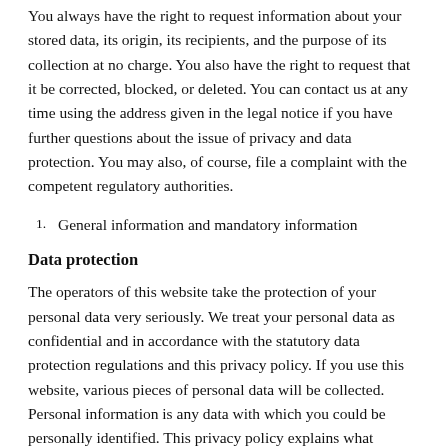You always have the right to request information about your stored data, its origin, its recipients, and the purpose of its collection at no charge. You also have the right to request that it be corrected, blocked, or deleted. You can contact us at any time using the address given in the legal notice if you have further questions about the issue of privacy and data protection. You may also, of course, file a complaint with the competent regulatory authorities.
1.   General information and mandatory information
Data protection
The operators of this website take the protection of your personal data very seriously. We treat your personal data as confidential and in accordance with the statutory data protection regulations and this privacy policy. If you use this website, various pieces of personal data will be collected. Personal information is any data with which you could be personally identified. This privacy policy explains what information we collect and what we use it for. It also explains how and for what purpose this happens. Please note that data transmitted via the internet (e.g. via email communication) may be subject to security breaches. Complete protection of your data from third-party